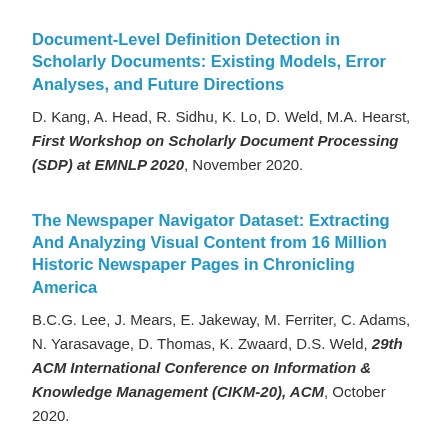Document-Level Definition Detection in Scholarly Documents: Existing Models, Error Analyses, and Future Directions
D. Kang, A. Head, R. Sidhu, K. Lo, D. Weld, M.A. Hearst, First Workshop on Scholarly Document Processing (SDP) at EMNLP 2020, November 2020.
The Newspaper Navigator Dataset: Extracting And Analyzing Visual Content from 16 Million Historic Newspaper Pages in Chronicling America
B.C.G. Lee, J. Mears, E. Jakeway, M. Ferriter, C. Adams, N. Yarasavage, D. Thomas, K. Zwaard, D.S. Weld, 29th ACM International Conference on Information & Knowledge Management (CIKM-20), ACM, October 2020.